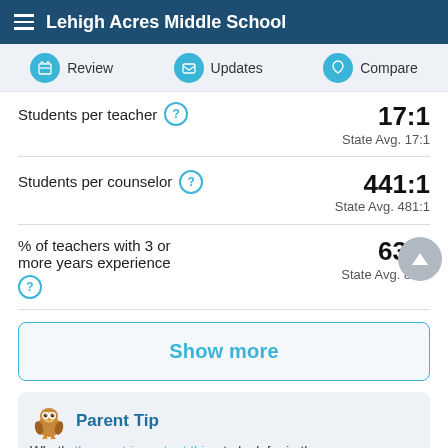Lehigh Acres Middle School
Review | Updates | Compare
Students per teacher ? 17:1 State Avg. 17:1
Students per counselor ? 441:1 State Avg. 481:1
% of teachers with 3 or more years experience ? 63% State Avg. 82%
Show more
Parent Tip
What's the most important thing to look for in the